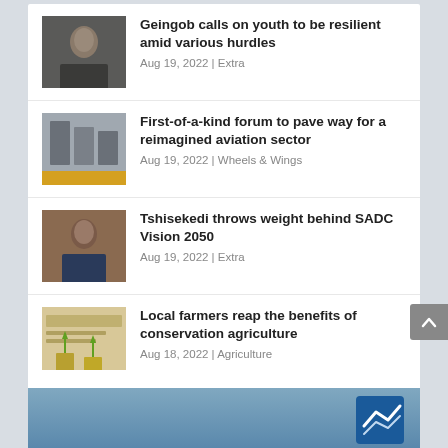Geingob calls on youth to be resilient amid various hurdles — Aug 19, 2022 | Extra
First-of-a-kind forum to pave way for a reimagined aviation sector — Aug 19, 2022 | Wheels & Wings
Tshisekedi throws weight behind SADC Vision 2050 — Aug 19, 2022 | Extra
Local farmers reap the benefits of conservation agriculture — Aug 18, 2022 | Agriculture
[Figure (screenshot): Partial bank advertisement banner at the bottom of the page with a blue gradient background and a partial logo visible.]